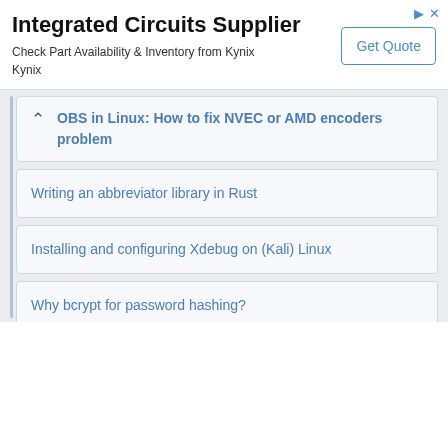[Figure (other): Advertisement banner: Integrated Circuits Supplier - Check Part Availability & Inventory from Kynix, with Get Quote button]
OBS in Linux: How to fix NVEC or AMD encoders problem
Writing an abbreviator library in Rust
Installing and configuring Xdebug on (Kali) Linux
Why bcrypt for password hashing?
Why HTTPS everything?
Analyzing hash_equals() (with references to timing